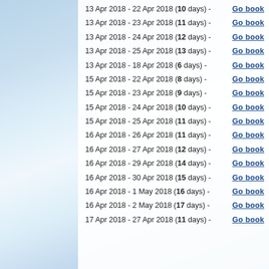13 Apr 2018 - 22 Apr 2018 (10 days) - Go book
13 Apr 2018 - 23 Apr 2018 (11 days) - Go book
13 Apr 2018 - 24 Apr 2018 (12 days) - Go book
13 Apr 2018 - 25 Apr 2018 (13 days) - Go book
13 Apr 2018 - 18 Apr 2018 (6 days) - Go book
15 Apr 2018 - 22 Apr 2018 (8 days) - Go book
15 Apr 2018 - 23 Apr 2018 (9 days) - Go book
15 Apr 2018 - 24 Apr 2018 (10 days) - Go book
15 Apr 2018 - 25 Apr 2018 (11 days) - Go book
16 Apr 2018 - 26 Apr 2018 (11 days) - Go book
16 Apr 2018 - 27 Apr 2018 (12 days) - Go book
16 Apr 2018 - 29 Apr 2018 (14 days) - Go book
16 Apr 2018 - 30 Apr 2018 (15 days) - Go book
16 Apr 2018 - 1 May 2018 (16 days) - Go book
16 Apr 2018 - 2 May 2018 (17 days) - Go book
17 Apr 2018 - 27 Apr 2018 (11 days) - Go book